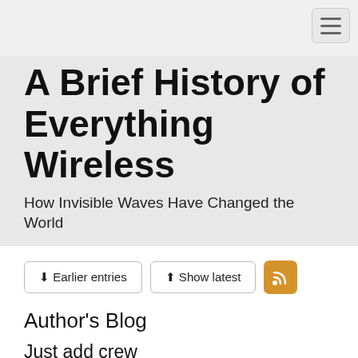[Figure (other): Hamburger/menu icon button in top-right corner navigation bar]
A Brief History of Everything Wireless
How Invisible Waves Have Changed the World
[Figure (other): Navigation buttons: Earlier entries, Show latest, and RSS feed icon]
Author's Blog
Just add crew
2019-03-07 [Petri]
The Space Shuttle entered service when I was in high school. It promised something that no rocket had done before: a reuse